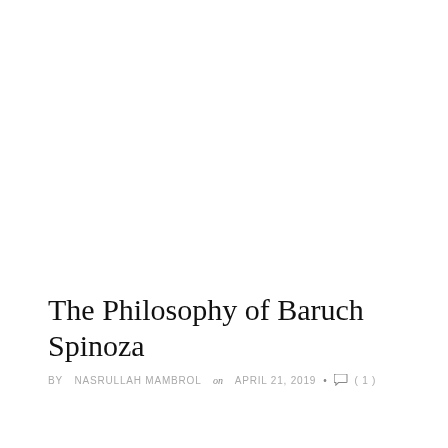The Philosophy of Baruch Spinoza
BY NASRULLAH MAMBROL on APRIL 21, 2019 • ( 1 )